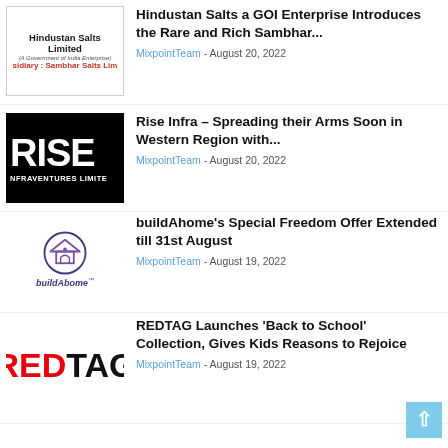[Figure (logo): Hindustan Salts Limited logo with text 'A Government of India Enterprise' and 'sidiary: Sambhar Salts Lim']
Hindustan Salts a GOI Enterprise Introduces the Rare and Rich Sambhar...
MixpointTeam - August 20, 2022
[Figure (logo): RISE Infraventures Limited logo - white text on black background]
Rise Infra – Spreading their Arms Soon in Western Region with...
MixpointTeam - August 20, 2022
[Figure (logo): buildAhome logo with house icon and italic text]
buildAhome's Special Freedom Offer Extended till 31st August
MixpointTeam - August 19, 2022
[Figure (logo): REDTAG logo in red and black bold text]
REDTAG Launches 'Back to School' Collection, Gives Kids Reasons to Rejoice
MixpointTeam - August 19, 2022